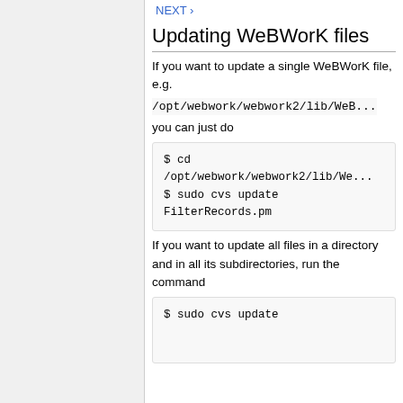NEXT
Updating WeBWorK files
If you want to update a single WeBWorK file, e.g.
/opt/webwork/webwork2/lib/WeB...
you can just do
$ cd
/opt/webwork/webwork2/lib/We...
$ sudo cvs update FilterRecords.pm
If you want to update all files in a directory and in all its subdirectories, run the command
$ sudo cvs update